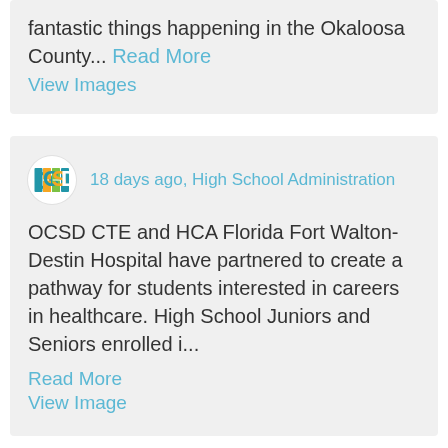fantastic things happening in the Okaloosa County...
Read More
View Images
18 days ago, High School Administration
OCSD CTE and HCA Florida Fort Walton-Destin Hospital have partnered to create a pathway for students interested in careers in healthcare. High School Juniors and Seniors enrolled i...
Read More
View Image
20 days ago, Hilary Demers